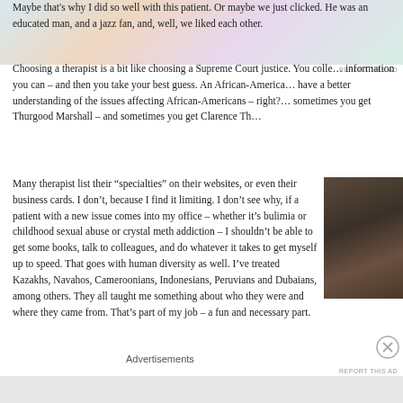[Figure (photo): Advertisement banner at top of page with colorful gradient background]
REPORT THIS AD
Maybe that's why I did so well with this patient.  Or maybe we just clicked.  He was an educated man, and a jazz fan, and, well, we liked each other.
Choosing a therapist is a bit like choosing a Supreme Court justice.  You collect all the information you can – and then you take your best guess.  An African-American justice will have a better understanding of the issues affecting African-Americans – right?  But sometimes you get Thurgood Marshall – and sometimes you get Clarence Tho…
Many therapist list their “specialties” on their websites, or even their business cards.  I don’t, because I find it limiting.  I don’t see why, if a patient with a new issue comes into my office – whether it’s bulimia or childhood sexual abuse or crystal meth addiction – I shouldn’t be able to get some books, talk to colleagues, and do whatever it takes to get myself up to speed. That goes with human diversity as well.  I’ve treated Kazakhs, Navahos, Cameroonians, Indonesians, Peruvians and Dubaians, among others.  They all taught me something about who they were and where they came from.  That’s part of my job – a fun and necessary part.
[Figure (photo): Photograph of a person, appears to be a man with dark features, partially visible on the right side of the page]
Advertisements
REPORT THIS AD